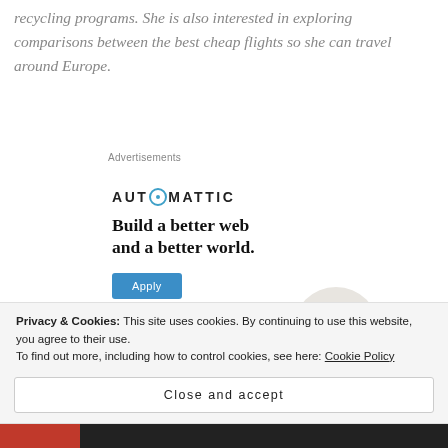recycling programs. She is also interested in exploring comparisons between the best cheap flights so she can travel around Europe.
Advertisements
[Figure (logo): Automattic logo with circular O icon and bold spaced lettering, followed by ad headline 'Build a better web and a better world.' with a blue Apply button and a circular photo of a man thinking]
Privacy & Cookies: This site uses cookies. By continuing to use this website, you agree to their use. To find out more, including how to control cookies, see here: Cookie Policy
Close and accept